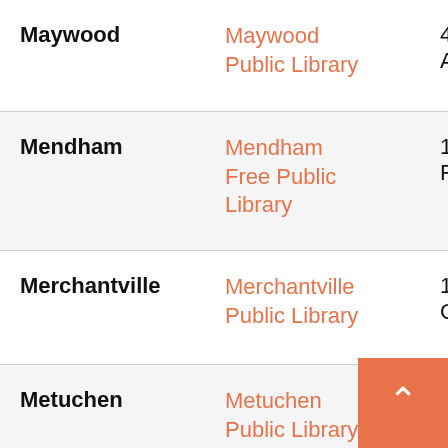| Municipality | Library | Number/Address |
| --- | --- | --- |
| Maywood | Maywood Public Library | 45
Av |
| Mendham | Mendham Free Public Library | 10
Ro |
| Merchantville | Merchantville Public Library | 13
Ce |
| Metuchen | Metuchen Public Library | 48
Mid
Av |
| Mickleton | Gloucester County | 53
Hig |